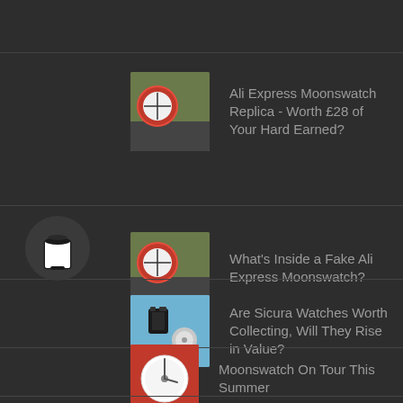Ali Express Moonswatch Replica - Worth £28 of Your Hard Earned?
What's Inside a Fake Ali Express Moonswatch?
Are Sicura Watches Worth Collecting, Will They Rise in Value?
Moonswatch On Tour This Summer